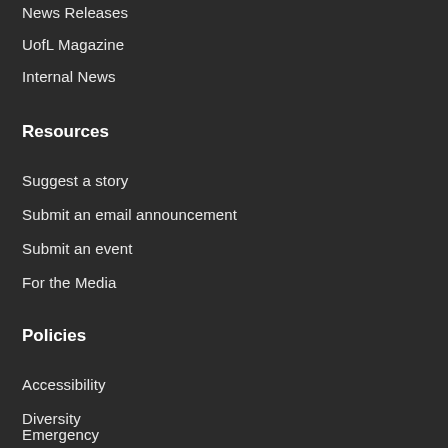News Releases
UofL Magazine
Internal News
Resources
Suggest a story
Submit an email announcement
Submit an event
For the Media
Policies
Accessibility
Diversity
Emergency